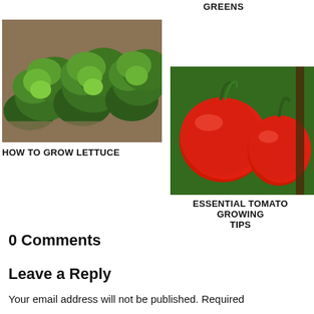GREENS
[Figure (photo): Photo of green lettuce heads growing in a garden bed with soil visible]
[Figure (photo): Photo of two ripe red tomatoes hanging on the vine surrounded by green foliage]
HOW TO GROW LETTUCE
ESSENTIAL TOMATO GROWING TIPS
0 Comments
Leave a Reply
Your email address will not be published. Required